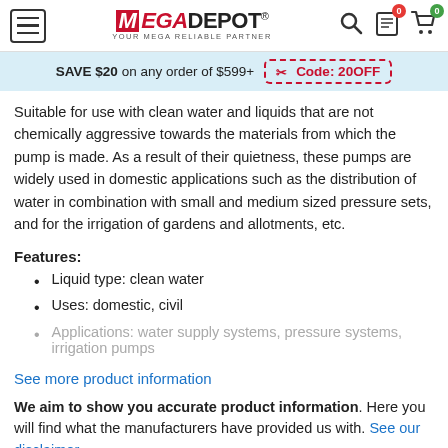MEGADEPOT® YOUR MEGA RELIABLE PARTNER
SAVE $20 on any order of $599+ Code: 20OFF
Suitable for use with clean water and liquids that are not chemically aggressive towards the materials from which the pump is made. As a result of their quietness, these pumps are widely used in domestic applications such as the distribution of water in combination with small and medium sized pressure sets, and for the irrigation of gardens and allotments, etc.
Features:
Liquid type: clean water
Uses: domestic, civil
Applications: water supply systems, pressure systems, irrigation pumps
See more product information
We aim to show you accurate product information. Here you will find what the manufacturers have provided us with. See our disclaimer.